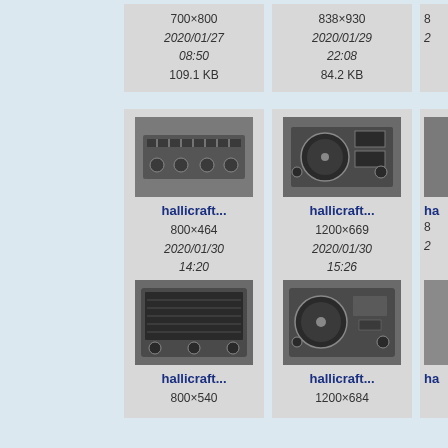[Figure (screenshot): File browser gallery showing vintage Hallicrafters radio equipment thumbnails with metadata: dimensions, dates, and file sizes]
700×800
2020/01/27
08:50
109.1 KB
838×930
2020/01/29
22:08
84.2 KB
[Figure (photo): Hallicrafters radio transmitter, front panel view]
hallicraft...
800×464
2020/01/30
14:20
82.1 KB
[Figure (photo): Hallicrafters radio receiver with large dial]
hallicraft...
1200×669
2020/01/30
15:26
208.2 KB
[Figure (photo): Hallicrafters radio receiver with frequency dial face]
hallicraft...
800×540
[Figure (photo): Hallicrafters radio receiver with round meter]
hallicraft...
1200×684